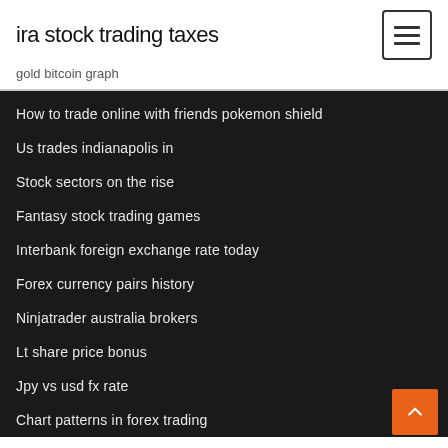ira stock trading taxes
gold bitcoin graph
How to trade online with friends pokemon shield
Us trades indianapolis in
Stock sectors on the rise
Fantasy stock trading games
Interbank foreign exchange rate today
Forex currency pairs history
Ninjatrader australia brokers
Lt share price bonus
Jpy vs usd fx rate
Chart patterns in forex trading